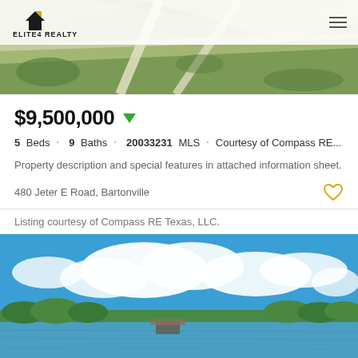[Figure (photo): Aerial view of roads through green fields with Elite4 Realty logo and hamburger menu overlay]
$9,500,000 ▼
5 Beds · 9 Baths · 20033231 MLS · Courtesy of Compass RE...
Property description and special features in attached information sheet.
480 Jeter E Road, Bartonville
Listing courtesy of Compass RE Texas, LLC.
[Figure (photo): Landscape photo of a lake with blue sky, white clouds, green trees and buildings along the waterfront]